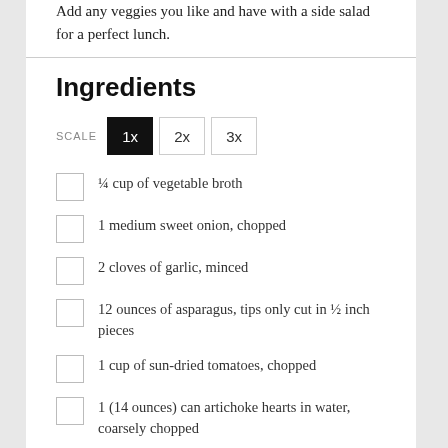Add any veggies you like and have with a side salad for a perfect lunch.
Ingredients
SCALE  1x  2x  3x
¼ cup of vegetable broth
1 medium sweet onion, chopped
2 cloves of garlic, minced
12 ounces of asparagus, tips only cut in ½ inch pieces
1 cup of sun-dried tomatoes, chopped
1 (14 ounces) can artichoke hearts in water, coarsely chopped
½ cup of water